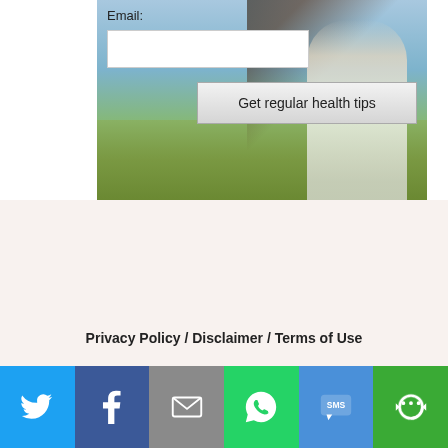[Figure (photo): Woman sitting on a grassy hillside with blue sky and water in background, with email signup overlay including label 'Email:', a white input box, and a 'Get regular health tips' button]
Privacy Policy / Disclaimer / Terms of Use
[Figure (infographic): Social share bar with six buttons: Twitter (blue bird icon), Facebook (dark blue F icon), Email (grey envelope icon), WhatsApp (green phone icon), SMS (blue SMS icon), More (green circular arrows icon)]